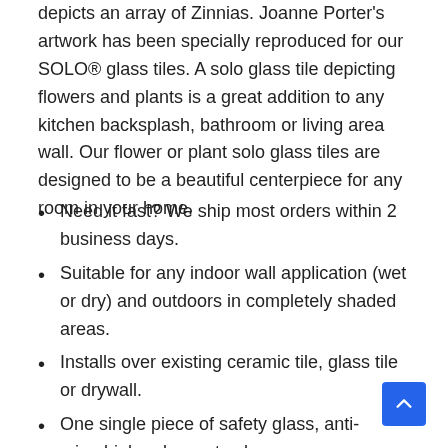This SOLO® glass tile features art from by Joanne Porter, that depicts an array of Zinnias. Joanne Porter's artwork has been specially reproduced for our SOLO® glass tiles. A solo glass tile depicting flowers and plants is a great addition to any kitchen backsplash, bathroom or living area wall. Our flower or plant solo glass tiles are designed to be a beautiful centerpiece for any room in your home.
Need it fast? We ship most orders within 2 business days.
Suitable for any indoor wall application (wet or dry) and outdoors in completely shaded areas.
Installs over existing ceramic tile, glass tile or drywall.
One single piece of safety glass, anti-microbial and easy to clean.
Easy to install – only takes a few minutes. You can even change them for the seasons.
Integrates beautifully with glass tile backsplashes – gives your project a modern and new look.
Design is imaged directly to the back of the glass, comes with A